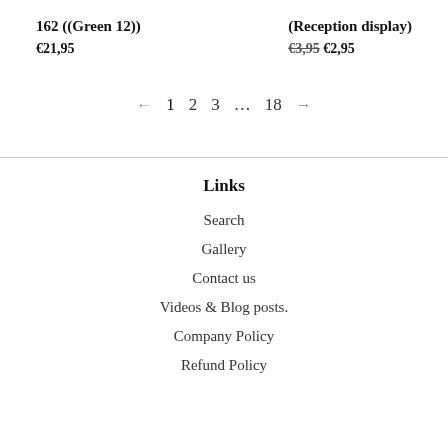162 ((Green 12))
€21,95
(Reception display)
€3,95 €2,95
← 1 2 3 … 18 →
Links
Search
Gallery
Contact us
Videos & Blog posts.
Company Policy
Refund Policy